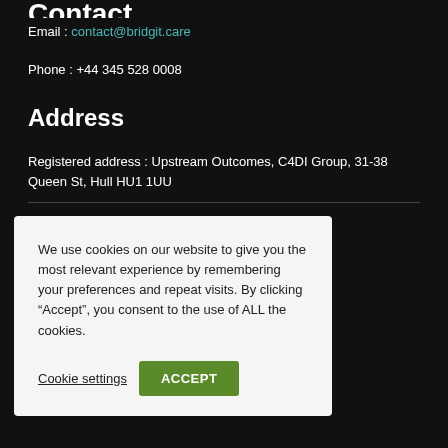Contact
Email : contact@bridgit.care
Phone : +44 345 528 0008
Address
Registered address : Upstream Outcomes, C4DI Group, 31-38 Queen St, Hull HU1 1UU
We use cookies on our website to give you the most relevant experience by remembering your preferences and repeat visits. By clicking “Accept”, you consent to the use of ALL the cookies.
Cookie settings | ACCEPT